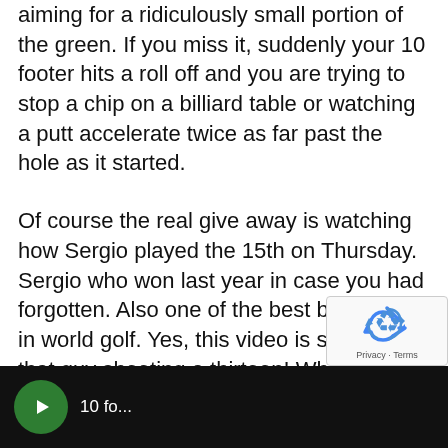aiming for a ridiculously small portion of the green. If you miss it, suddenly your 10 footer hits a roll off and you are trying to stop a chip on a billiard table or watching a putt accelerate twice as far past the hole as it started.
Of course the real give away is watching how Sergio played the 15th on Thursday. Sergio who won last year in case you had forgotten. Also one of the best ball strikers in world golf. Yes, this video is showing that guy shooting a thirteen! When we admired McIlroy, Reed and Spieth going low, it is important to remember just how tough a test this is. these guys are really, really good!
[Figure (screenshot): reCAPTCHA widget with recycling arrows icon and Privacy - Terms footer text]
[Figure (screenshot): Bottom video thumbnail bar showing green circular icon and partial text on dark background]